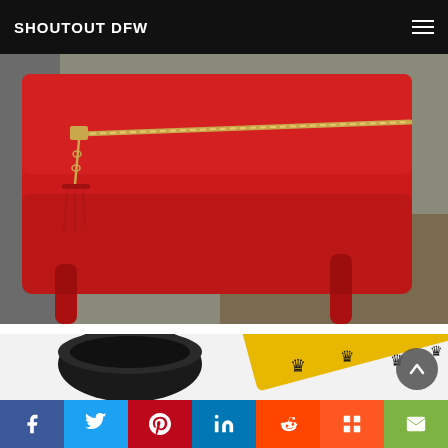SHOUTOUT DFW
[Figure (photo): Close-up photo of a red leather backpack with gold zipper and red tassel, worn by a person in grey pants outdoors]
[Figure (photo): Partial view of a black mug and a yellow patterned clutch/wallet with black crown/flame designs on white background]